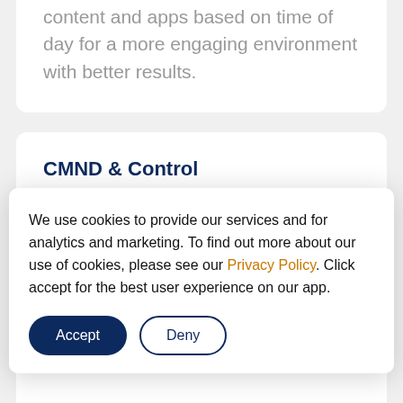content and apps based on time of day for a more engaging environment with better results.
CMND & Control
Run your display network over a local (LAN
We use cookies to provide our services and for analytics and marketing. To find out more about our use of cookies, please see our Privacy Policy. Click accept for the best user experience on our app.
managing your fleet easy.